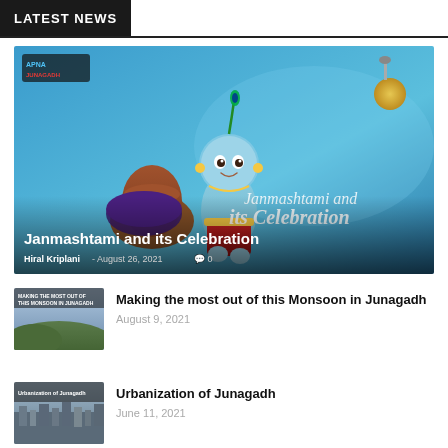LATEST NEWS
[Figure (photo): Featured article thumbnail: Janmashtami and its Celebration — animated blue background with cartoon Krishna figure, text 'Janmashtami and its Celebration' overlaid]
Janmashtami and its Celebration
Hiral Kriplani - August 26, 2021  💬 0
[Figure (photo): Thumbnail image for 'Making the most out of this Monsoon in Junagadh' — landscape photo with text overlay]
Making the most out of this Monsoon in Junagadh
August 9, 2021
[Figure (photo): Thumbnail image for 'Urbanization of Junagadh' — aerial city photo with text overlay]
Urbanization of Junagadh
June 11, 2021